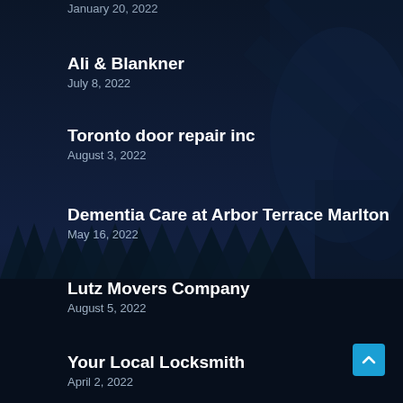January 20, 2022
Ali & Blankner
July 8, 2022
Toronto door repair inc
August 3, 2022
Dementia Care at Arbor Terrace Marlton
May 16, 2022
Lutz Movers Company
August 5, 2022
Your Local Locksmith
April 2, 2022